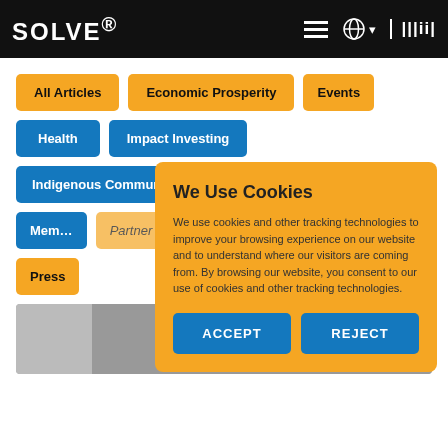SOLVE® MIT
All Articles
Economic Prosperity
Events
Health
Impact Investing
Indigenous Communities
Learning
Members
Partner Challenges
Partnerships
Press
[Figure (screenshot): Partial view of article thumbnails below filter navigation]
We Use Cookies
We use cookies and other tracking technologies to improve your browsing experience on our website and to understand where our visitors are coming from. By browsing our website, you consent to our use of cookies and other tracking technologies.
ACCEPT
REJECT